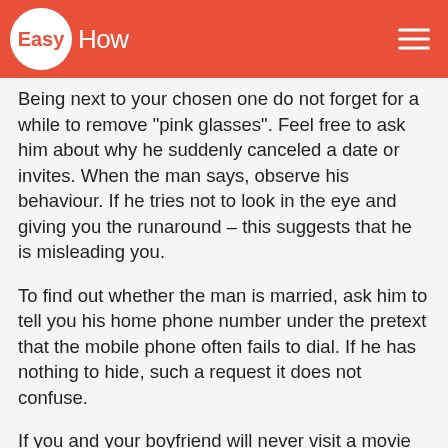EasyHow
Being next to your chosen one do not forget for a while to remove "pink glasses". Feel free to ask him about why he suddenly canceled a date or invites. When the man says, observe his behaviour. If he tries not to look in the eye and giving you the runaround – this suggests that he is misleading you.
To find out whether the man is married, ask him to tell you his home phone number under the pretext that the mobile phone often fails to dial. If he has nothing to hide, such a request it does not confuse.
If you and your boyfriend will never visit a movie theater, popular clubs, restaurants and cafes, supermarkets – that could indicate that he doesn't want someone saw him with a woman.
Learn the truth about the man it is easy, for this you just need a little while to turn on their brains". If your partner has these symptoms, it is worth